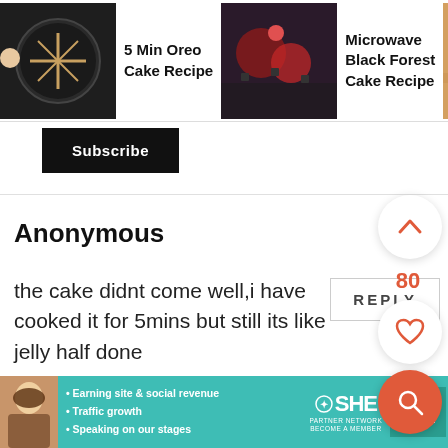[Figure (screenshot): Recipe navigation bar with three recipe thumbnails: 5 Min Oreo Cake Recipe, Microwave Black Forest Cake Recipe, Eggless Vanilla Sponge Cake Recipe (partially visible)]
Subscribe
REPLY
Anonymous
the cake didnt come well,i have cooked it for 5mins but still its like jelly half done
80
REPLY
[Figure (screenshot): SHE Partner Network advertisement banner with bullets: Earning site & social revenue, Traffic growth, Speaking on our stages. Includes LEARN MORE button.]